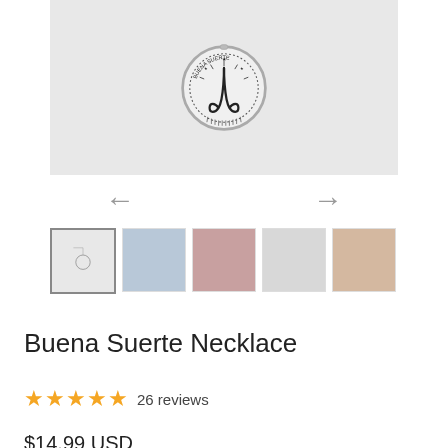[Figure (photo): Main product image showing a round silver medallion necklace charm with a wishbone engraving and 'BUENA SUERTE' text around the edge, on a light gray background.]
[Figure (photo): Row of 5 thumbnail product images: 1) full necklace on white background, 2) woman wearing necklace with blue top and braided hair, 3) close-up of woman in red with necklace, 4) necklace on white top, 5) woman wearing necklace with peach/skin-tone background.]
Buena Suerte Necklace
★★★★★ 26 reviews